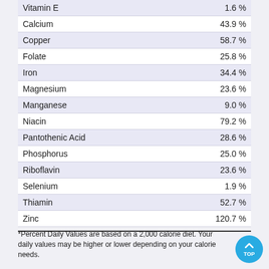| Nutrient | % Daily Value |
| --- | --- |
| Vitamin E | 1.6 % |
| Calcium | 43.9 % |
| Copper | 58.7 % |
| Folate | 25.8 % |
| Iron | 34.4 % |
| Magnesium | 23.6 % |
| Manganese | 9.0 % |
| Niacin | 79.2 % |
| Pantothenic Acid | 28.6 % |
| Phosphorus | 25.0 % |
| Riboflavin | 23.6 % |
| Selenium | 1.9 % |
| Thiamin | 52.7 % |
| Zinc | 120.7 % |
*Percent Daily Values are based on a 2,000 calorie diet. Your daily values may be higher or lower depending on your calorie needs.